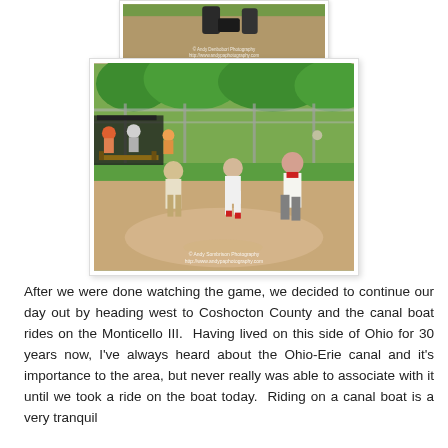[Figure (photo): Partial view of a baseball/vintage game photo showing dirt field and boots, with watermark 'AndyDenbobori Photography / http://www.andypaphotography.com']
[Figure (photo): Outdoor vintage baseball game scene with players in period costumes running on a dirt field, spectators and chain-link fence in background, watermark '© Andy Sombrison Photography / http://www.andypaphotography.com']
After we were done watching the game, we decided to continue our day out by heading west to Coshocton County and the canal boat rides on the Monticello III.  Having lived on this side of Ohio for 30 years now, I've always heard about the Ohio-Erie canal and it's importance to the area, but never really was able to associate with it until we took a ride on the boat today.  Riding on a canal boat is a very tranquil experience.  Well, positive.  Real theories in a change i...